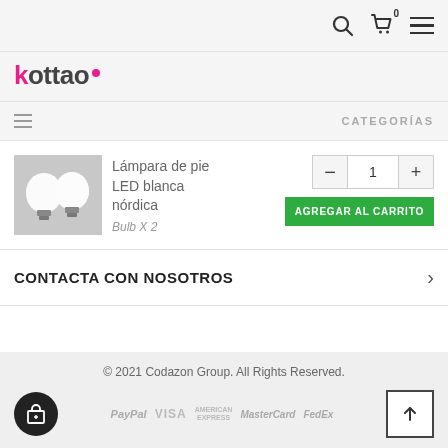kottao — navigation with search, cart (0), and menu icons
CATEGORÍAS
[Figure (photo): Two white LED bulb lights on grey background]
Lámpara de pie LED blanca nórdica
Bulb X 2
- 1 +
AGREGAR AL CARRITO
CONTACTA CON NOSOTROS
© 2021 Codazon Group. All Rights Reserved.
PayPal VISA AMERICAN EXPRESS MasterCard FedEx